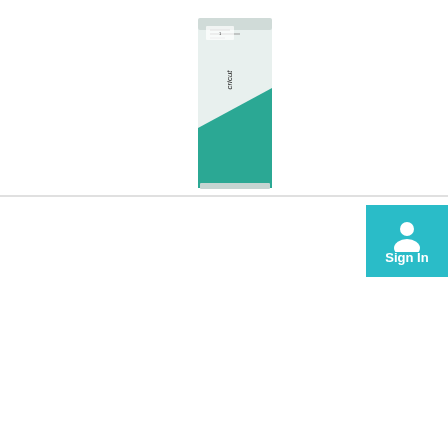[Figure (photo): Cricut Joy product box - a white and teal/green branded box for Cricut Joy cutting machine, shown upright against white background]
We use cookies to offer you a better user experience and analyse site traffic. By continuing to use this website, you consent to the use of cookies in accordance with our Privacy Policy  Learn More
Got It
[Figure (illustration): Sign In button with person/account icon, teal blue background]
Road